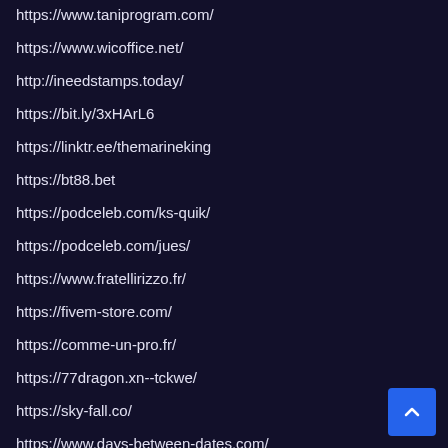https://www.taniprogram.com/
https://www.wicoffice.net/
http://ineedstamps.today/
https://bit.ly/3xHArL6
https://linktr.ee/themarineking
https://bt88.bet
https://podceleb.com/ks-quik/
https://podceleb.com/jues/
https://www.fratellirizzo.fr/
https://fivem-store.com/
https://comme-un-pro.fr/
https://77dragon.xn--tckwe/
https://sky-fall.co/
https://www.days-between-dates.com/